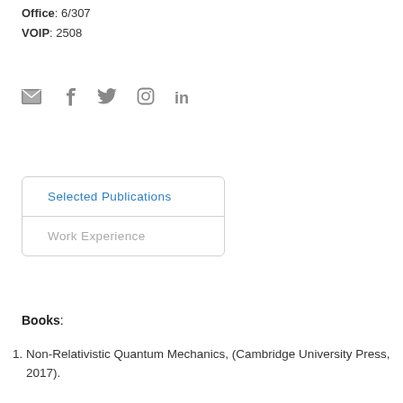Office: 6/307
VOIP: 2508
[Figure (infographic): Row of social media icons: email envelope, Facebook, Twitter bird, Instagram, LinkedIn]
Selected Publications | Work Experience (navigation box)
Books:
1. Non-Relativistic Quantum Mechanics, (Cambridge University Press, 2017).